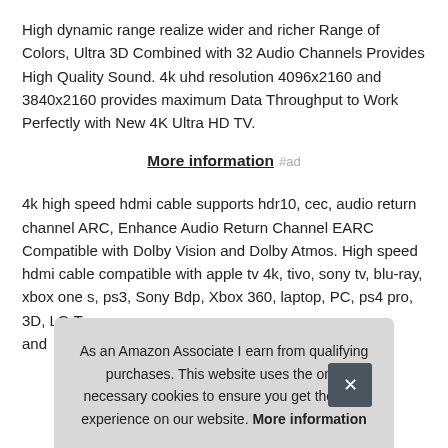High dynamic range realize wider and richer Range of Colors, Ultra 3D Combined with 32 Audio Channels Provides High Quality Sound. 4k uhd resolution 4096x2160 and 3840x2160 provides maximum Data Throughput to Work Perfectly with New 4K Ultra HD TV.
More information #ad
4k high speed hdmi cable supports hdr10, cec, audio return channel ARC, Enhance Audio Return Channel EARC Compatible with Dolby Vision and Dolby Atmos. High speed hdmi cable compatible with apple tv 4k, tivo, sony tv, blu-ray, xbox one s, ps3, Sony Bdp, Xbox 360, laptop, PC, ps4 pro, 3D, LG T and
As an Amazon Associate I earn from qualifying purchases. This website uses the only necessary cookies to ensure you get the best experience on our website. More information